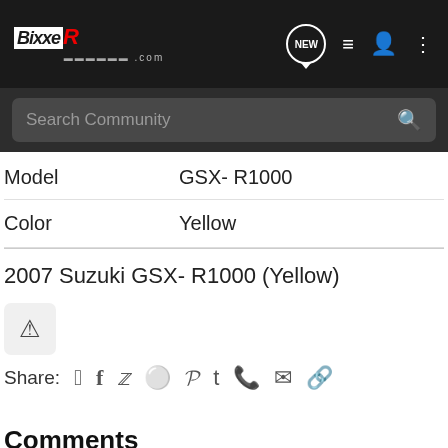BixxeR.com navigation bar with logo, NEW bubble, list icon, user icon, dots menu
Search Community
| Field | Value |
| --- | --- |
| Model | GSX- R1000 |
| Color | Yellow |
2007 Suzuki GSX- R1000 (Yellow)
Share: [facebook] [twitter] [reddit] [pinterest] [tumblr] [whatsapp] [email] [link]
Comments
There are no comments to display.